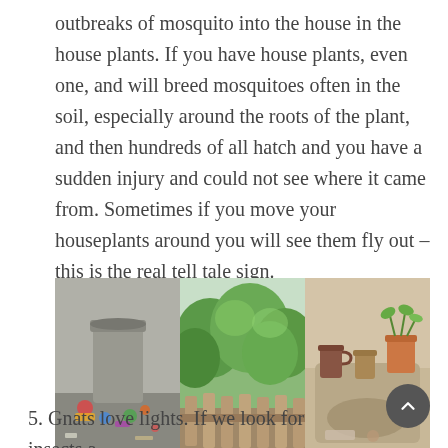outbreaks of mosquito into the house in the house plants. If you have house plants, even one, and will breed mosquitoes often in the soil, especially around the roots of the plant, and then hundreds of all hatch and you have a sudden injury and could not see where it came from. Sometimes if you move your houseplants around you will see them fly out – this is the real tell tale sign.
[Figure (photo): Three side-by-side photos: left shows an overflowing trash bin with litter on the ground, center shows green garden vegetation behind a wooden picket fence, right shows a dirty sink or container with various items.]
5. Gnats love lights. If we look for insects a